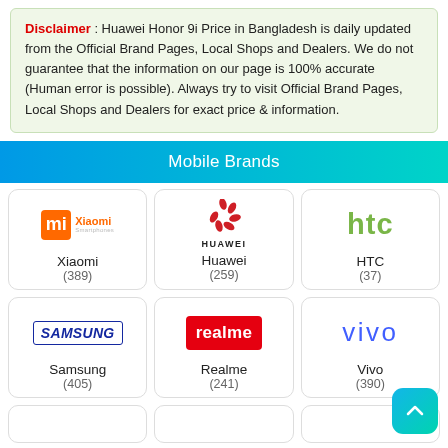Disclaimer : Huawei Honor 9i Price in Bangladesh is daily updated from the Official Brand Pages, Local Shops and Dealers. We do not guarantee that the information on our page is 100% accurate (Human error is possible). Always try to visit Official Brand Pages, Local Shops and Dealers for exact price & information.
Mobile Brands
[Figure (logo): Xiaomi logo with orange MI box and brand name]
Xiaomi (389)
[Figure (logo): Huawei red flower logo with HUAWEI text]
Huawei (259)
[Figure (logo): HTC green lowercase logo]
HTC (37)
[Figure (logo): Samsung blue italic logo]
Samsung (405)
[Figure (logo): Realme white text on red background]
Realme (241)
[Figure (logo): Vivo blue logo]
Vivo (390)